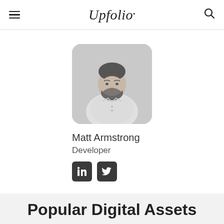Upfolio.
[Figure (photo): Profile photo of Matt Armstrong, a man with a beard wearing a white shirt, shown from waist up against a light background. The photo has rounded corners.]
Matt Armstrong
Developer
[Figure (illustration): LinkedIn and Twitter social media icons in dark rounded square buttons]
Popular Digital Assets